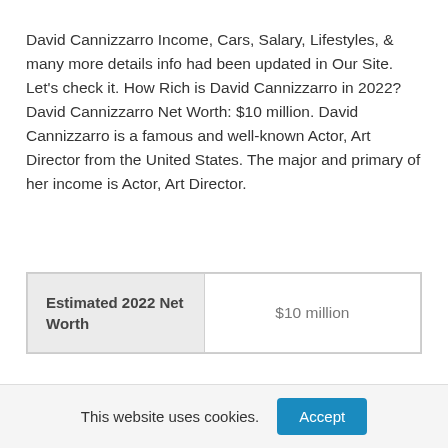David Cannizzarro Income, Cars, Salary, Lifestyles, & many more details info had been updated in Our Site. Let's check it. How Rich is David Cannizzarro in 2022? David Cannizzarro Net Worth: $10 million. David Cannizzarro is a famous and well-known Actor, Art Director from the United States. The major and primary of her income is Actor, Art Director.
| Estimated 2022 Net Worth |  |
| --- | --- |
| Estimated 2022 Net Worth | $10 million |
This website uses cookies.